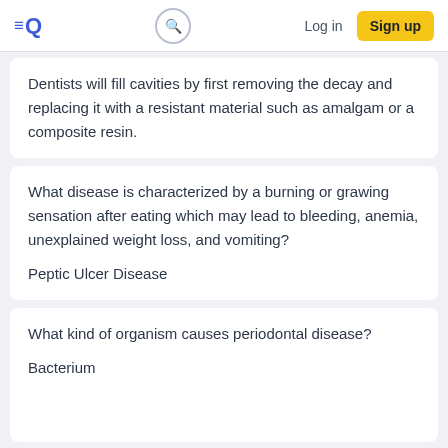≡Q  [search]  Log in  Sign up
Dentists will fill cavities by first removing the decay and replacing it with a resistant material such as amalgam or a composite resin.
What disease is characterized by a burning or grawing sensation after eating which may lead to bleeding, anemia, unexplained weight loss, and vomiting?
Peptic Ulcer Disease
What kind of organism causes periodontal disease?
Bacterium